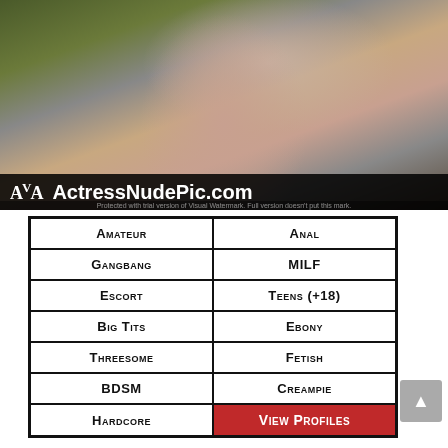[Figure (photo): Photo of a woman with watermark overlay bar at bottom showing 'AVA ActressNudePic.com']
| Amateur | Anal |
| Gangbang | MILF |
| Escort | Teens (+18) |
| Big Tits | Ebony |
| Threesome | Fetish |
| BDSM | Creampie |
| Hardcore | View Profiles |